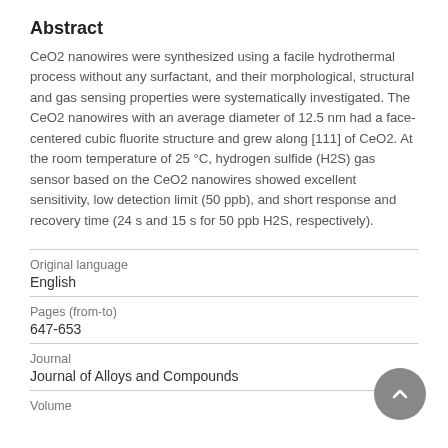Abstract
CeO2 nanowires were synthesized using a facile hydrothermal process without any surfactant, and their morphological, structural and gas sensing properties were systematically investigated. The CeO2 nanowires with an average diameter of 12.5 nm had a face-centered cubic fluorite structure and grew along [111] of CeO2. At the room temperature of 25 °C, hydrogen sulfide (H2S) gas sensor based on the CeO2 nanowires showed excellent sensitivity, low detection limit (50 ppb), and short response and recovery time (24 s and 15 s for 50 ppb H2S, respectively).
Original language
English
Pages (from-to)
647-653
Journal
Journal of Alloys and Compounds
Volume